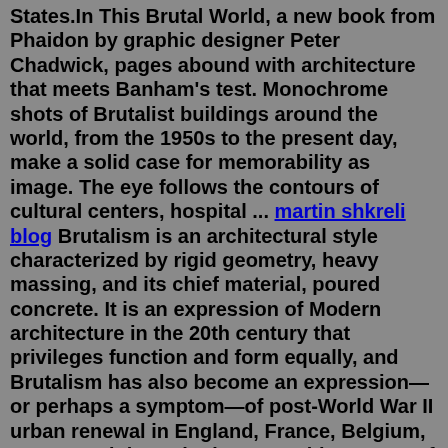States.In This Brutal World, a new book from Phaidon by graphic designer Peter Chadwick, pages abound with architecture that meets Banham's test. Monochrome shots of Brutalist buildings around the world, from the 1950s to the present day, make a solid case for memorability as image. The eye follows the contours of cultural centers, hospital ... martin shkreli blog Brutalism is an architectural style characterized by rigid geometry, heavy massing, and its chief material, poured concrete. It is an expression of Modern architecture in the 20th century that privileges function and form equally, and Brutalism has also become an expression—or perhaps a symptom—of post-World War II urban renewal in England, France, Belgium, Japan, and the United States. This system of reinforced concrete was the basis of his aesthetic, proudly displayed in many of his buildings without being covered or decorated. Today, there are examples of Brutalist...Brutalism peaked in the 1970s, with examples still standing in Western